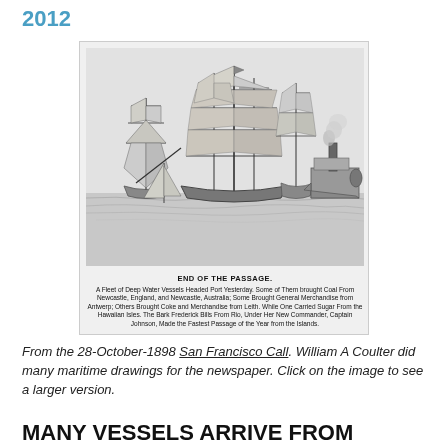2012
[Figure (illustration): Black and white maritime drawing titled 'END OF THE PASSAGE' showing tall sailing ships and a steamboat on water, with a small caption below describing ships bringing coal and merchandise to port. From the San Francisco Call, drawn by William A Coulter.]
From the 28-October-1898 San Francisco Call. William A Coulter did many maritime drawings for the newspaper. Click on the image to see a larger version.
MANY VESSELS ARRIVE FROM FOREIGN PORTS